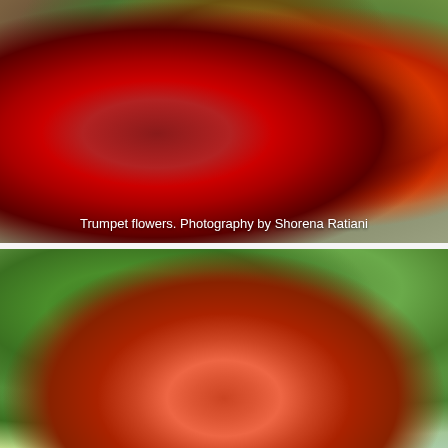[Figure (photo): Close-up photograph of trumpet flowers (Campsis) with vivid red-orange blooms and orange tubular stems, against a blurred background of brick wall and foliage. Caption overlay reads: Trumpet flowers. Photography by Shorena Ratiani]
Trumpet flowers. Photography by Shorena Ratiani
[Figure (photo): Close-up photograph of a single red-orange trumpet flower (Campsis) viewed from below, with green foliage and bokeh light visible in the background.]